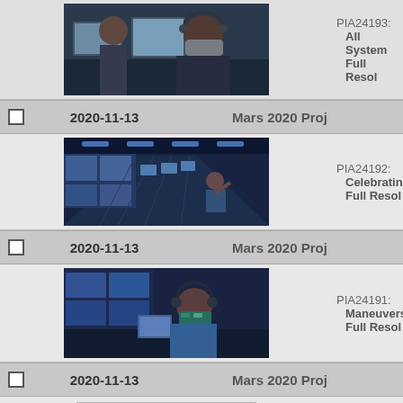[Figure (photo): Person in a control room wearing a face mask, working at computers, blue-lit environment]
PIA24193:
    All System
    Full Resol
2020-11-13   Mars 2020 Proj
[Figure (photo): Wide control room with blue lighting, long rows of workstations with multiple large screens, person waving in background]
PIA24192:
    Celebratin
    Full Resol
2020-11-13   Mars 2020 Proj
[Figure (photo): Person at a workstation wearing headphones and a colorful mask in a blue-lit control room]
PIA24191:
    Maneuvers
    Full Resol
2020-11-13   Mars 2020 Proj
[Figure (photo): Black and white engineering/satellite image showing mechanical components]
PIA24175:
    MEDA's W
    Full Resol